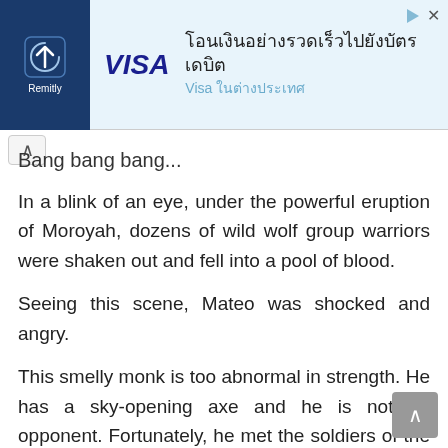[Figure (screenshot): Remitly and Visa advertisement banner with Thai text: โอนเงินอย่างรวดเร็วไปยังบัตรเดบิต Visa ในต่างประเทศ]
Bang bang bang...
In a blink of an eye, under the powerful eruption of Moroyah, dozens of wild wolf group warriors were shaken out and fell into a pool of blood.
Seeing this scene, Mateo was shocked and angry.
This smelly monk is too abnormal in strength. He has a sky-opening axe and he is not an opponent. Fortunately, he met the soldiers of the Raksha tribe and invited them to help. Otherwise, this opportunity might be missed.